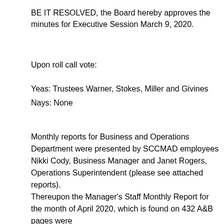BE IT RESOLVED, the Board hereby approves the minutes for Executive Session March 9, 2020.
Upon roll call vote:
Yeas: Trustees Warner, Stokes, Miller and Givines
Nays: None
Monthly reports for Business and Operations Department were presented by SCCMAD employees Nikki Cody, Business Manager and Janet Rogers, Operations Superintendent (please see attached reports).
Thereupon the Manager's Staff Monthly Report for the month of April 2020, which is found on 432 A&B pages were